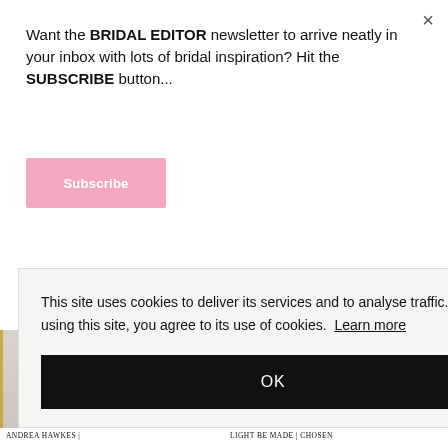[Figure (photo): Left photo: white fabric/dress detail, soft grey tones]
[Figure (photo): Right photo: floral/feathered wedding dress detail, cream tones]
MEDUSA LONDON | TAKING
HERMIONE DE PAULA | DEMI N
Want the BRIDAL EDITOR newsletter to arrive neatly in your inbox with lots of bridal inspiration? Hit the SUBSCRIBE button...
Subscribe
This site uses cookies to deliver its services and to analyse traffic. By using this site, you agree to its use of cookies. Learn more
OK
[Figure (photo): Bottom left: neutral/grey fabric or interior detail with gold left border]
[Figure (photo): Bottom right: ocean/sea photo with light blue-green water]
ANDREA HAWKES |
LIGHT BE MADE | CHOSEN